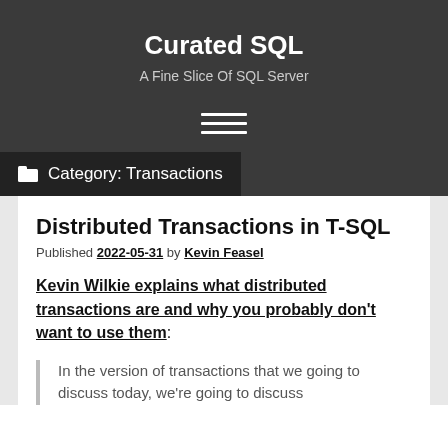Curated SQL
A Fine Slice Of SQL Server
Category: Transactions
Distributed Transactions in T-SQL
Published 2022-05-31 by Kevin Feasel
Kevin Wilkie explains what distributed transactions are and why you probably don't want to use them:
In the version of transactions that we going to discuss today, we're going to discuss